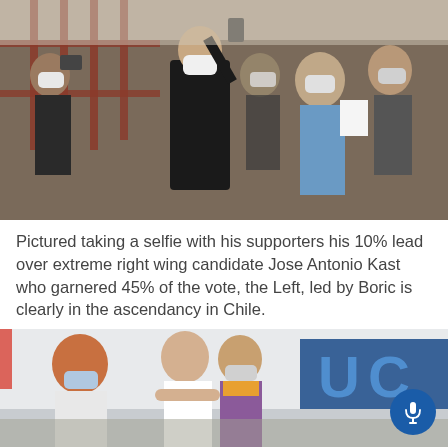[Figure (photo): A man in a black suit and white face mask taking a selfie with a crowd of supporters, many wearing face masks, standing near an iron fence.]
Pictured taking a selfie with his supporters his 10% lead over extreme right wing candidate Jose Antonio Kast who garnered 45% of the vote, the Left, led by Boric is clearly in the ascendancy in Chile.
[Figure (photo): People hugging and embracing outdoors, with Chilean flags and a banner visible in the background. A blue microphone button overlay is visible in the bottom right corner.]